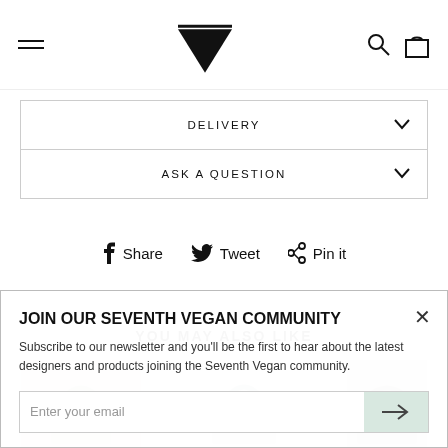[Figure (logo): Seventh Vegan brand logo: stylized V triangle with horizontal lines hamburger menu icon on left, search and shopping bag icons on right]
DELIVERY
ASK A QUESTION
Share  Tweet  Pin it
JOIN OUR SEVENTH VEGAN COMMUNITY
Subscribe to our newsletter and you'll be the first to hear about the latest designers and products joining the Seventh Vegan community.
YOU MAY ALSO LIKE
Enter your email
[Figure (photo): Product images of handbags in grey/beige tones visible at bottom of page]